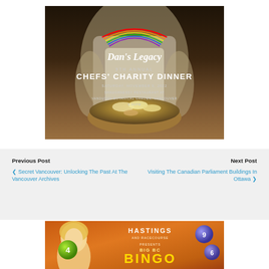[Figure (photo): Dan's Legacy 9th Annual Chefs' Charity Dinner event poster. Dark background with a chef holding a bowl of food. Rainbow logo above 'Dan's Legacy' in script. Text reads: 9TH ANNUAL / CHEFS' CHARITY DINNER / SATURDAY, NOVEMBER 5, 2022 / SHAUGHNESSY RESTAURANT AT VANDUSEN BOTANICAL GARDEN, VANCOUVER / 6:00PM]
Previous Post
❮ Secret Vancouver: Unlocking The Past At The Vancouver Archives
Next Post
Visiting The Canadian Parliament Buildings In Ottawa ❯
[Figure (photo): Hastings Racecourse presents Big BC Bingo advertisement banner. Orange/brown background with a blonde woman on the left, bingo balls on the right, and text: HASTINGS / BIG BC / BINGO]